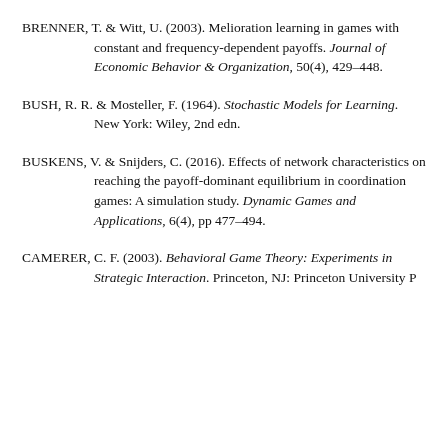BRENNER, T. & Witt, U. (2003). Melioration learning in games with constant and frequency-dependent payoffs. Journal of Economic Behavior & Organization, 50(4), 429–448.
BUSH, R. R. & Mosteller, F. (1964). Stochastic Models for Learning. New York: Wiley, 2nd edn.
BUSKENS, V. & Snijders, C. (2016). Effects of network characteristics on reaching the payoff-dominant equilibrium in coordination games: A simulation study. Dynamic Games and Applications, 6(4), pp 477–494.
CAMERER, C. F. (2003). Behavioral Game Theory: Experiments in Strategic Interaction. Princeton, NJ: Princeton University Press.